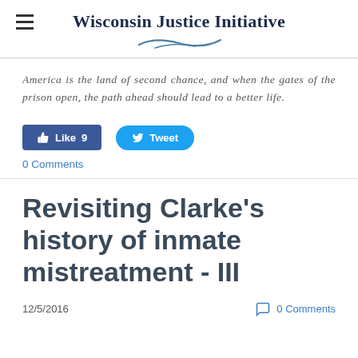Wisconsin Justice Initiative
America is the land of second chance, and when the gates of the prison open, the path ahead should lead to a better life.
[Figure (other): Facebook Like button showing 9 likes and Twitter Tweet button]
0 Comments
Revisiting Clarke's history of inmate mistreatment - III
12/5/2016
0 Comments